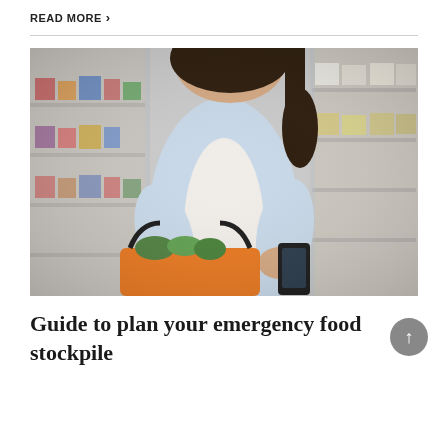READ MORE >
[Figure (photo): Woman shopping in a supermarket aisle, holding an orange shopping basket and a smartphone, smiling, with blurred store shelves in the background.]
Guide to plan your emergency food stockpile